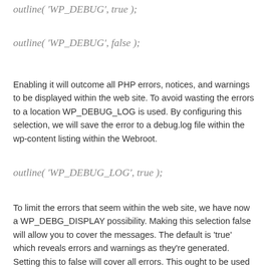outline( 'WP_DEBUG', true );
outline( 'WP_DEBUG', false );
Enabling it will outcome all PHP errors, notices, and warnings to be displayed within the web site. To avoid wasting the errors to a location WP_DEBUG_LOG is used. By configuring this selection, we will save the error to a debug.log file within the wp-content listing within the Webroot.
outline( 'WP_DEBUG_LOG', true );
To limit the errors that seem within the web site, we have now a WP_DEBG_DISPLAY possibility. Making this selection false will allow you to cover the messages. The default is 'true' which reveals errors and warnings as they're generated. Setting this to false will cover all errors. This ought to be used together with